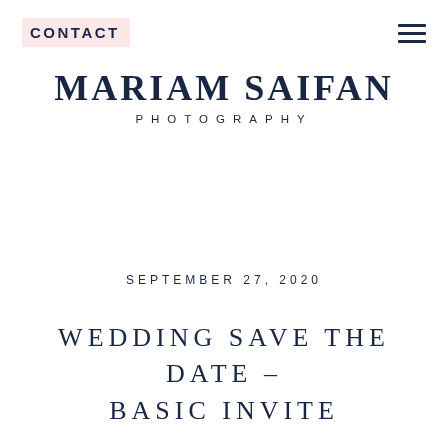CONTACT
MARIAM SAIFAN PHOTOGRAPHY
SEPTEMBER 27, 2020
WEDDING SAVE THE DATE – BASIC INVITE